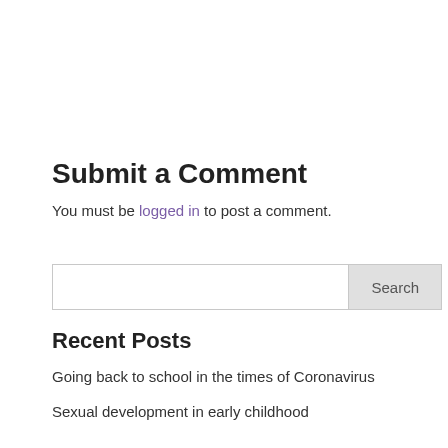Submit a Comment
You must be logged in to post a comment.
[Figure (other): Search input box with Search button]
Recent Posts
Going back to school in the times of Coronavirus
Sexual development in early childhood